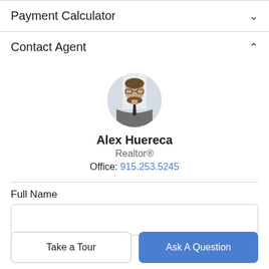Payment Calculator
Contact Agent
[Figure (photo): Circular profile photo of Alex Huereca, a man in a suit and tie, smiling]
Alex Huereca
Realtor®
Office: 915.253.5245
Full Name
Take a Tour
Ask A Question